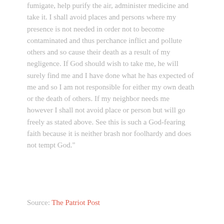fumigate, help purify the air, administer medicine and take it. I shall avoid places and persons where my presence is not needed in order not to become contaminated and thus perchance inflict and pollute others and so cause their death as a result of my negligence. If God should wish to take me, he will surely find me and I have done what he has expected of me and so I am not responsible for either my own death or the death of others. If my neighbor needs me however I shall not avoid place or person but will go freely as stated above. See this is such a God-fearing faith because it is neither brash nor foolhardy and does not tempt God."
Source: The Patriot Post